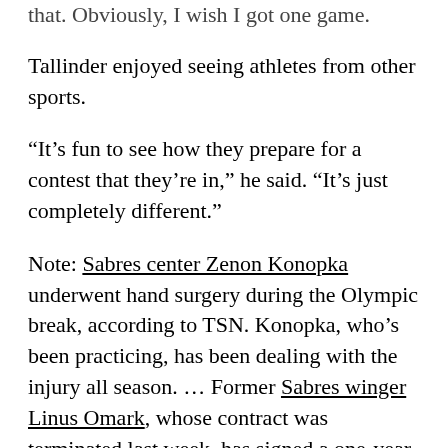that. Obviously, I wish I got one game.
Tallinder enjoyed seeing athletes from other sports.
“It’s fun to see how they prepare for a contest that they’re in,” he said. “It’s just completely different.”
Note: Sabres center Zenon Konopka underwent hand surgery during the Olympic break, according to TSN. Konopka, who’s been practicing, has been dealing with the injury all season. … Former Sabres winger Linus Omark, whose contract was terminated last week, has signed a one-year deal with Lulea of the Swedish Hockey League.
Related: Tod Nolan orders Sabres tough guy